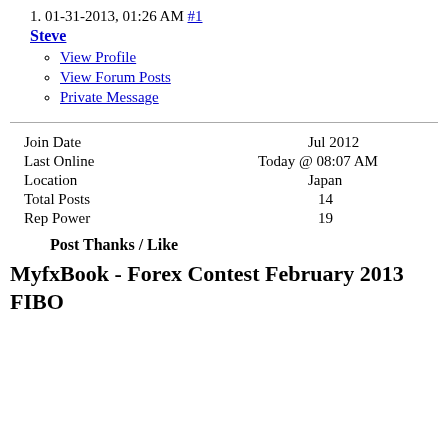1. 01-31-2013, 01:26 AM #1
Steve
View Profile
View Forum Posts
Private Message
| Join Date | Jul 2012 |
| Last Online | Today @ 08:07 AM |
| Location | Japan |
| Total Posts | 14 |
| Rep Power | 19 |
Post Thanks / Like
MyfxBook - Forex Contest February 2013 FIBO